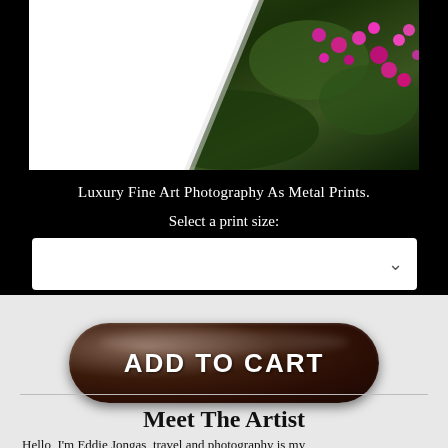[Figure (photo): Fine art photography print showing a landscape with pink/magenta flowers against dark foliage, displayed as a metal print with white diagonal swoosh]
Luxury Fine Art Photography As Metal Prints.
Select a print size:
[Figure (other): Dropdown select box for print size selection]
[Figure (other): ADD TO CART button with dark rounded rectangular gradient styling]
Meet The Artist
Hello, I'm Eddie Jongas, travel and photography is my